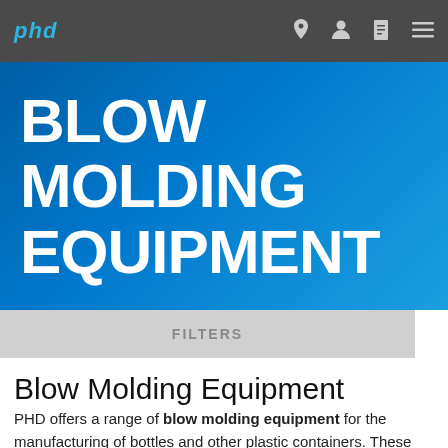phd
BLOW MOLDING EQUIPMENT
FILTERS
Blow Molding Equipment
PHD offers a range of blow molding equipment for the manufacturing of bottles and other plastic containers. These products are spare component solutions for 'S' style and 'K' style and